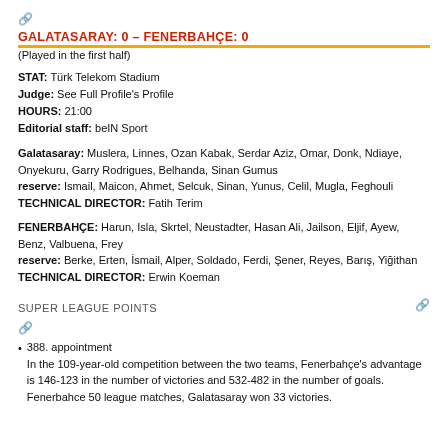[Figure (other): External link icon]
GALATASARAY: 0 – FENERBAHÇE: 0
(Played in the first half)
STAT: Türk Telekom Stadium
Judge: See Full Profile's Profile
HOURS: 21:00
Editorial staff: beIN Sport
Galatasaray: Muslera, Linnes, Ozan Kabak, Serdar Aziz, Omar, Donk, Ndiaye, Onyekuru, Garry Rodrigues, Belhanda, Sinan Gumus
reserve: Ismail, Maicon, Ahmet, Selcuk, Sinan, Yunus, Celil, Mugla, Feghouli
TECHNICAL DIRECTOR: Fatih Terim
FENERBAHÇE: Harun, Isla, Skrtel, Neustadter, Hasan Ali, Jailson, Eljif, Ayew, Benz, Valbuena, Frey
reserve: Berke, Erten, İsmail, Alper, Soldado, Ferdi, Şener, Reyes, Barış, Yiğithan
TECHNICAL DIRECTOR: Erwin Koeman
SUPER LEAGUE POINTS
[Figure (other): External link icon (right side of Super League Points)]
[Figure (other): External link icon (second block)]
388. appointment
In the 109-year-old competition between the two teams, Fenerbahçe's advantage is 146-123 in the number of victories and 532-482 in the number of goals. Fenerbahce 50 league matches, Galatasaray won 33 victories.